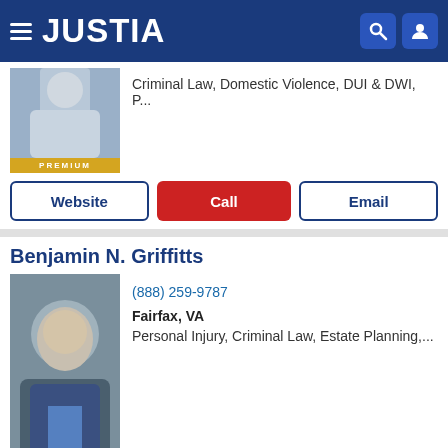JUSTIA
Criminal Law, Domestic Violence, DUI & DWI, P...
Website | Call | Email
Benjamin N. Griffitts
(888) 259-9787
Fairfax, VA
Personal Injury, Criminal Law, Estate Planning,...
Website | Call | Email
Seth Q. Peritz
(703) 337-3773